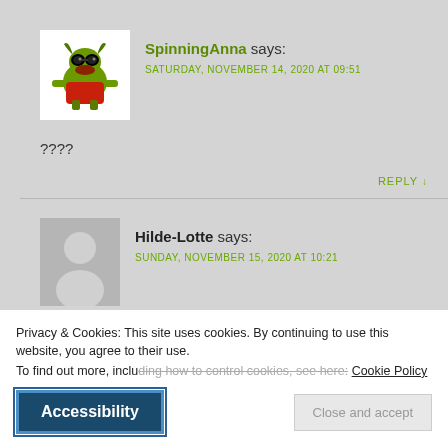SpinningAnna says: SATURDAY, NOVEMBER 14, 2020 AT 09:51
[Figure (illustration): Green android-style avatar with horns and red outfit, SpinningAnna user avatar]
????
REPLY
[Figure (illustration): Generic grey person silhouette avatar for Hilde-Lotte]
Hilde-Lotte says: SUNDAY, NOVEMBER 15, 2020 AT 10:21
Privacy & Cookies: This site uses cookies. By continuing to use this website, you agree to their use. To find out more, including how to control cookies, see here: Cookie Policy
Accessibility
Close and accept
lilies, I'll keep them out of reach... Fingers crossed Freya